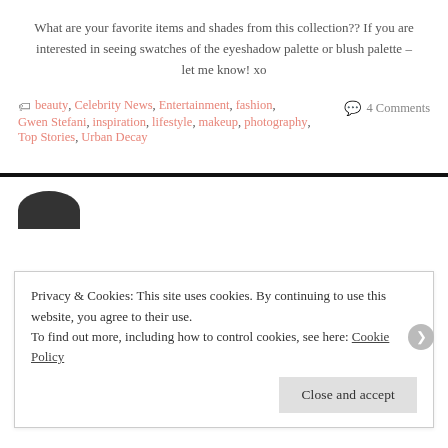What are your favorite items and shades from this collection?? If you are interested in seeing swatches of the eyeshadow palette or blush palette – let me know! xo
beauty, Celebrity News, Entertainment, fashion, Gwen Stefani, inspiration, lifestyle, makeup, photography, Top Stories, Urban Decay    💬 4 Comments
Privacy & Cookies: This site uses cookies. By continuing to use this website, you agree to their use.
To find out more, including how to control cookies, see here: Cookie Policy
Close and accept